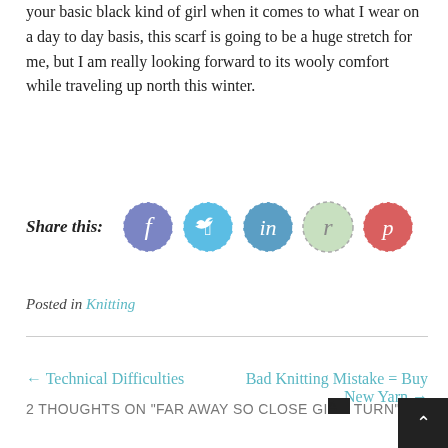your basic black kind of girl when it comes to what I wear on a day to day basis, this scarf is going to be a huge stretch for me, but I am really looking forward to its wooly comfort while traveling up north this winter.
Share this: [Facebook] [Twitter] [LinkedIn] [Ravelry] [Pinterest]
Posted in Knitting
← Technical Difficulties
Bad Knitting Mistake = Buy New Yarn →
2 THOUGHTS ON "FAR AWAY SO CLOSE GI… A TURN"